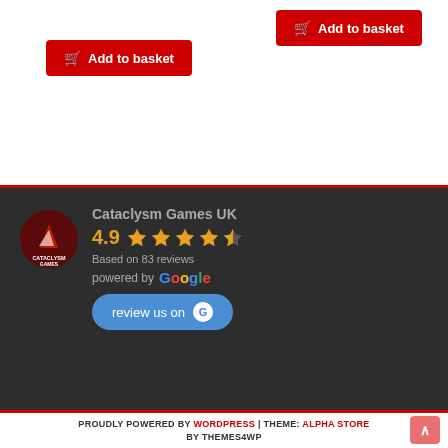[Figure (screenshot): Two red 'Add to basket' buttons on a white background]
[Figure (screenshot): Google review widget for Cataclysm Games UK showing 4.9 rating based on 83 reviews, with a 'review us on Google' button]
PROUDLY POWERED BY WORDPRESS | THEME: ALPHA STORE BY THEMES4WP